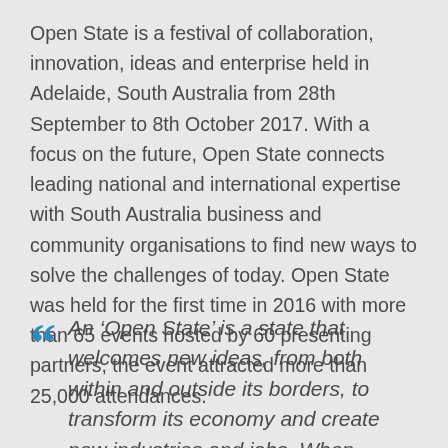Open State is a festival of collaboration, innovation, ideas and enterprise held in Adelaide, South Australia from 28th September to 8th October 2017. With a focus on the future, Open State connects leading national and international expertise with South Australia business and community organisations to find new ways to solve the challenges of today. Open State was held for the first time in 2016 with more than 65 events hosted by 60 presenting partners, the event attracted more than 25,000 attendances.
An ‘Open State’ is a state that welcomes new ideas, from both within and outside its borders, to transform its economy and create new industries and jobs. When communities, governments and businesses work together, they